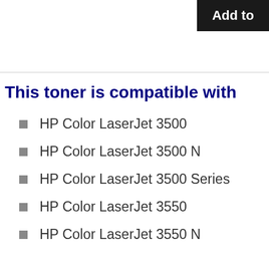[Figure (screenshot): Partial 'Add to' button with black background and white text, cropped at top-right corner]
This toner is compatible with
HP Color LaserJet 3500
HP Color LaserJet 3500 N
HP Color LaserJet 3500 Series
HP Color LaserJet 3550
HP Color LaserJet 3550 N